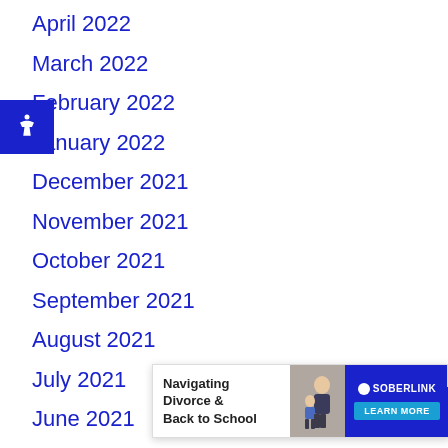April 2022
March 2022
February 2022
January 2022
December 2021
November 2021
October 2021
September 2021
August 2021
July 2021
June 2021
May 2021
April 2021
[Figure (screenshot): Advertisement overlay: Navigating Divorce & Back to School - SoberLink Learn More button, with a woman and child photo, and a close X button]